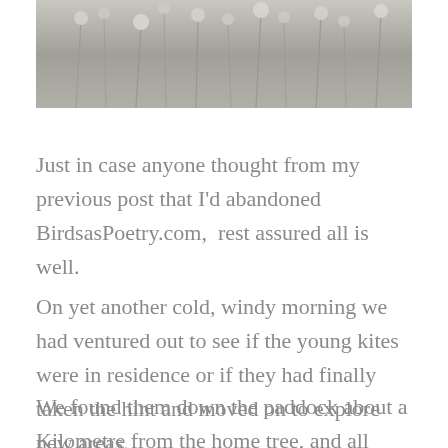[Figure (photo): Photograph of dried wildflowers or seed heads on thin stems against a muted grey background, cropped at top of page]
Just in case anyone thought from my previous post that I'd abandoned BirdsasPoetry.com,  rest assured all is well.
On yet another cold, windy morning we had ventured out to see if the young kites were in residence or if they had finally taken the hint and moved on to explore new areas.
We found them down the paddock about a Kilometre from the home tree, and all three